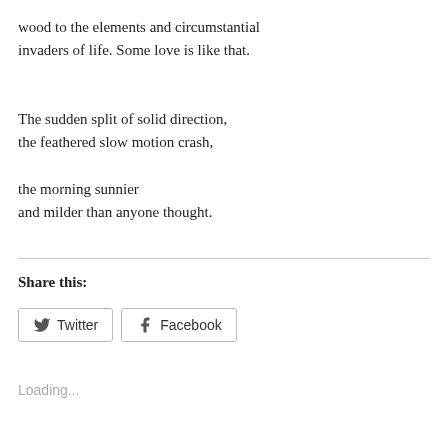wood to the elements and circumstantial invaders of life. Some love is like that.
The sudden split of solid direction,
the feathered slow motion crash,

the morning sunnier
and milder than anyone thought.
Share this:
Loading...